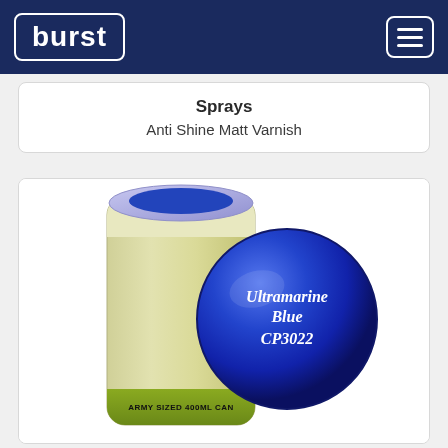burst
Sprays
Anti Shine Matt Varnish
[Figure (photo): Product photo of a yellow-green spray can (Army Sized 400ML Can) with a large circular blue lid/cap showing 'Ultramarine Blue CP3022' in white italic text. The can top has a blue circular label.]